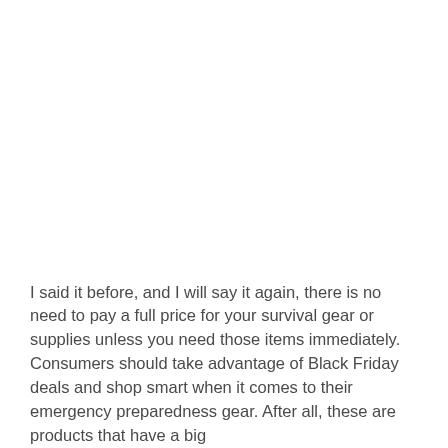I said it before, and I will say it again, there is no need to pay a full price for your survival gear or supplies unless you need those items immediately. Consumers should take advantage of Black Friday deals and shop smart when it comes to their emergency preparedness gear. After all, these are products that have a big